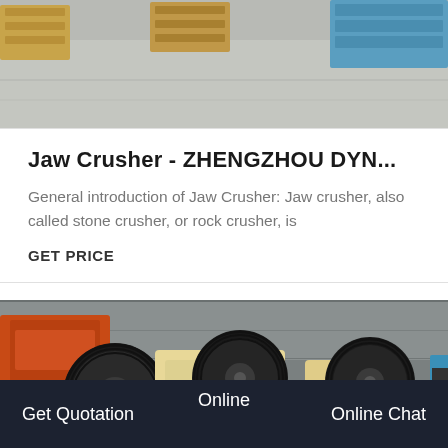[Figure (photo): Top portion of a jaw crusher machine in an industrial warehouse, showing concrete floor and wooden pallets with blue/orange equipment in background.]
Jaw Crusher - ZHENGZHOU DYN...
General introduction of Jaw Crusher: Jaw crusher, also called stone crusher, or rock crusher, is
GET PRICE
[Figure (photo): Multiple jaw crusher machines with large black flywheels and cream/yellow housings stored outdoors against a concrete wall.]
Get Quotation  Online  Online Chat